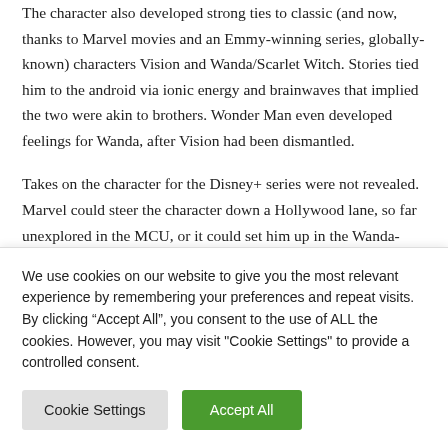The character also developed strong ties to classic (and now, thanks to Marvel movies and an Emmy-winning series, globally-known) characters Vision and Wanda/Scarlet Witch. Stories tied him to the android via ionic energy and brainwaves that implied the two were akin to brothers. Wonder Man even developed feelings for Wanda, after Vision had been dismantled.
Takes on the character for the Disney+ series were not revealed. Marvel could steer the character down a Hollywood lane, so far unexplored in the MCU, or it could set him up in the Wanda-Vision lane, something the company has continued to explore, even with
We use cookies on our website to give you the most relevant experience by remembering your preferences and repeat visits. By clicking “Accept All”, you consent to the use of ALL the cookies. However, you may visit "Cookie Settings" to provide a controlled consent.